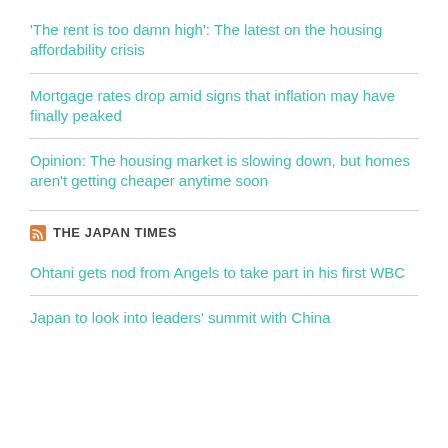'The rent is too damn high': The latest on the housing affordability crisis
Mortgage rates drop amid signs that inflation may have finally peaked
Opinion: The housing market is slowing down, but homes aren't getting cheaper anytime soon
THE JAPAN TIMES
Ohtani gets nod from Angels to take part in his first WBC
Japan to look into leaders' summit with China